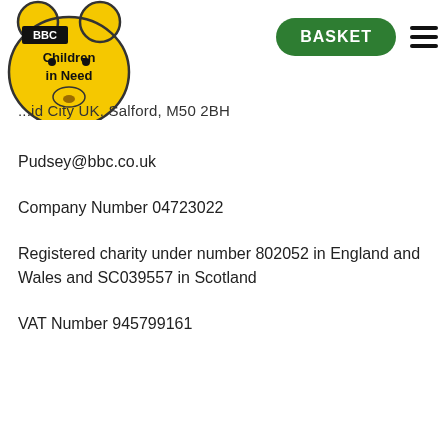[Figure (logo): BBC Children in Need yellow bear logo with text 'BBC Children in Need']
BASKET
...id City UK, Salford, M50 2BH
Pudsey@bbc.co.uk
Company Number 04723022
Registered charity under number 802052 in England and Wales and SC039557 in Scotland
VAT Number 945799161